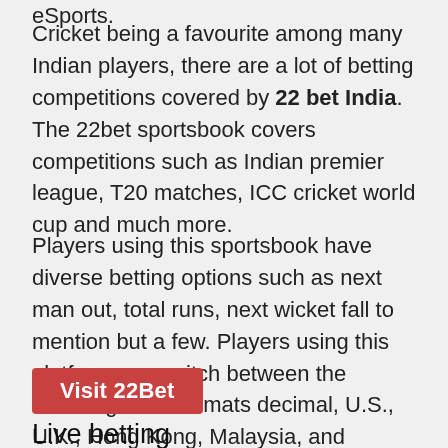eSports.
Cricket being a favourite among many Indian players, there are a lot of betting competitions covered by 22 bet India. The 22bet sportsbook covers competitions such as Indian premier league, T20 matches, ICC cricket world cup and much more.
Players using this sportsbook have diverse betting options such as next man out, total runs, next wicket fall to mention but a few. Players using this platform can switch between the following odds formats decimal, U.S., U.K., Hong Kong, Malaysia, and Indonesia.
Visit 22Bet
Live betting